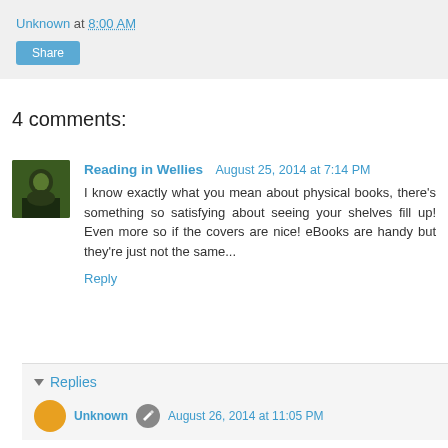Unknown at 8:00 AM
Share
4 comments:
[Figure (photo): Small avatar photo of a person with a dark background, outdoor setting]
Reading in Wellies  August 25, 2014 at 7:14 PM
I know exactly what you mean about physical books, there's something so satisfying about seeing your shelves fill up! Even more so if the covers are nice! eBooks are handy but they're just not the same...
Reply
▾ Replies
Unknown  August 26, 2014 at 11:05 PM